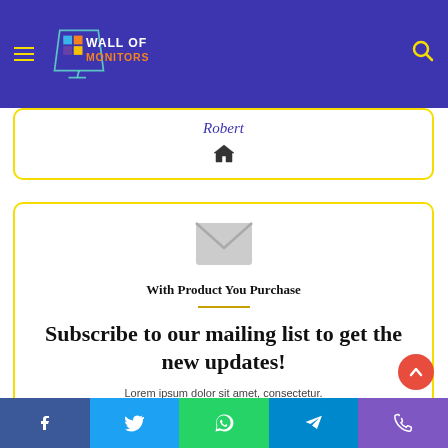[Figure (logo): Wall of Monitors logo with colorful squares and monitor icon on purple/blue background with hamburger menu and search icon]
Robert
[Figure (illustration): Home icon]
[Figure (illustration): Mail envelope icon (grey)]
With Product You Purchase
Subscribe to our mailing list to get the new updates!
Lorem ipsum dolor sit amet, consectetur.
[Figure (infographic): Social sharing bar with Facebook, Twitter, WhatsApp, Telegram, Phone icons]